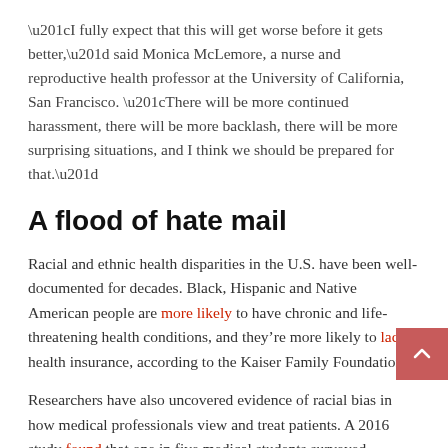“I fully expect that this will get worse before it gets better,” said Monica McLemore, a nurse and reproductive health professor at the University of California, San Francisco. “There will be more continued harassment, there will be more backlash, there will be more surprising situations, and I think we should be prepared for that.”
A flood of hate mail
Racial and ethnic health disparities in the U.S. have been well-documented for decades. Black, Hispanic and Native American people are more likely to have chronic and life-threatening health conditions, and they’re more likely to lack health insurance, according to the Kaiser Family Foundation.
Researchers have also uncovered evidence of racial bias in how medical professionals view and treat patients. A 2016 study found that one in five medical students surveyed believed that Black people had a higher tolerance for pain, and more than half believed that Black